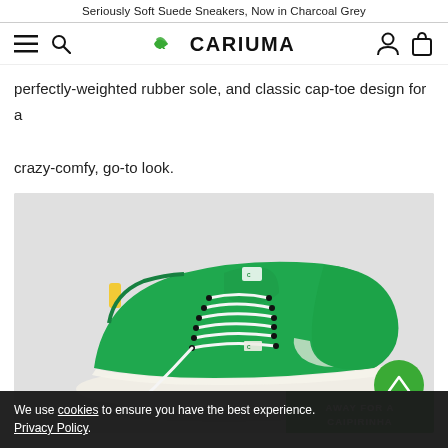Seriously Soft Suede Sneakers, Now in Charcoal Grey
[Figure (logo): Cariuma logo with green leaf icon and hamburger menu, search, account, and cart icons in navigation bar]
perfectly-weighted rubber sole, and classic cap-toe design for a crazy-comfy, go-to look.
[Figure (photo): Green Cariuma canvas sneaker with white laces and white rubber sole on light grey background, with scroll-to-top button and AWAY FOR A CAIPIRINHA CTA box]
We use cookies to ensure you have the best experience. Privacy Policy.